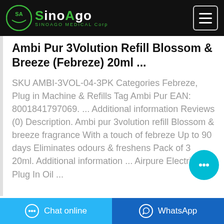SinoAgo Medical Corp
Ambi Pur 3Volution Refill Blossom & Breeze (Febreze) 20ml ...
SKU AMBI-3VOL-04-3PK Categories Febreze, Plug in Machine & Refills Tag Ambi Pur EAN: 8001841797069. ... Additional information Reviews (0) Description. Ambi pur 3volution refill Blossom & breeze fragrance With a touch of febreze Up to 90 days Eliminates odours & freshens Pack of 3 20ml. Additional information ... Airpure Electric Plug In Oil ...
Chat online   WhatsApp